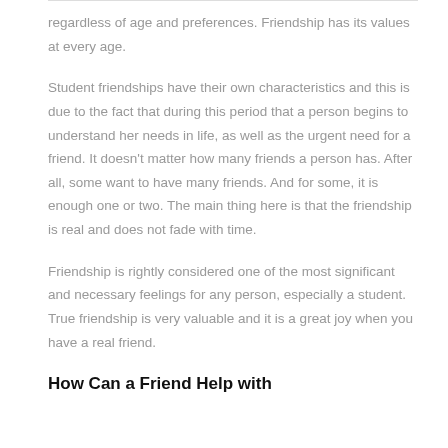regardless of age and preferences. Friendship has its values at every age.
Student friendships have their own characteristics and this is due to the fact that during this period that a person begins to understand her needs in life, as well as the urgent need for a friend. It doesn't matter how many friends a person has. After all, some want to have many friends. And for some, it is enough one or two. The main thing here is that the friendship is real and does not fade with time.
Friendship is rightly considered one of the most significant and necessary feelings for any person, especially a student. True friendship is very valuable and it is a great joy when you have a real friend.
How Can a Friend Help with